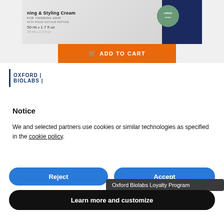[Figure (screenshot): Product image showing a hair styling cream box with blue sidebar, orange 'ADD TO CART' button below it]
[Figure (logo): Oxford Biolabs logo with vertical bar and two-line text]
Notice
We and selected partners use cookies or similar technologies as specified in the cookie policy.
Reject
Accept
Oxford Biolabs Loyalty Program
Learn more and customize